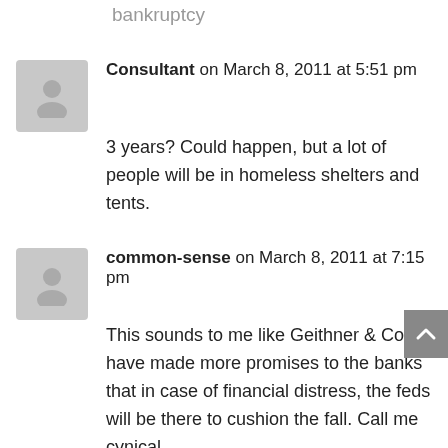bankruptcy
Consultant on March 8, 2011 at 5:51 pm
3 years? Could happen, but a lot of people will be in homeless shelters and tents.
common-sense on March 8, 2011 at 7:15 pm
This sounds to me like Geithner & Co. have made more promises to the banks that in case of financial distress, the feds will be there to cushion the fall. Call me cynical